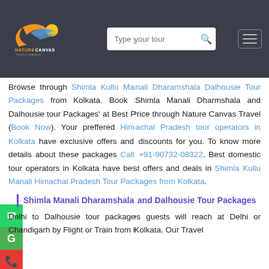[Figure (logo): Nature Canvas Tour & Travels logo with orange crescent and sun/bird graphic]
Browse through Shimla Kullu Manali Dharamshala Dalhousie Tour Packages from Kolkata. Book Shimla Manali Dharmshala and Dalhousie tour Packages' at Best Price through Nature Canvas Travel (Book Now). Your preffered Himachal Pradesh tour operators in Kolkata have exclusive offers and discounts for you. To know more details about these packages Call +91-90732-08322. Best domestic tour operators in Kolkata have best offers and deals in Shimla Kullu Manali Himachal Pradesh Tour Packages from Kolkata.
Shimla Manali Dharamshala and Dalhousie Tour Packages
Delhi to Dalhousie tour packages guests will reach at Delhi or Chandigarh by Flight or Train from Kolkata. Our Travel